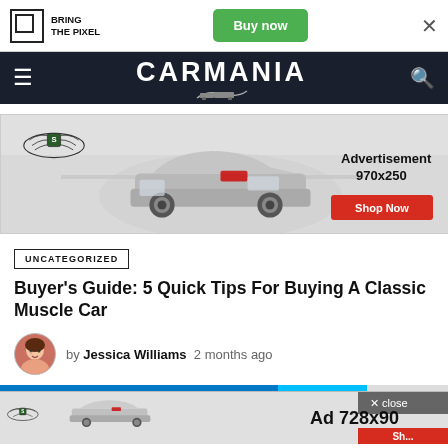[Figure (screenshot): Top promotional banner with Bring The Pixel logo on left, green Buy now button, and X close button]
CARMANIA
[Figure (infographic): Advertisement banner 970x250 showing a silver car, wing shield logo, and Shop Now button]
UNCATEGORIZED
Buyer's Guide: 5 Quick Tips For Buying A Classic Muscle Car
by Jessica Williams 2 months ago
[Figure (infographic): Bottom sticky ad banner showing Ad 728x90 with close button and progress bar]